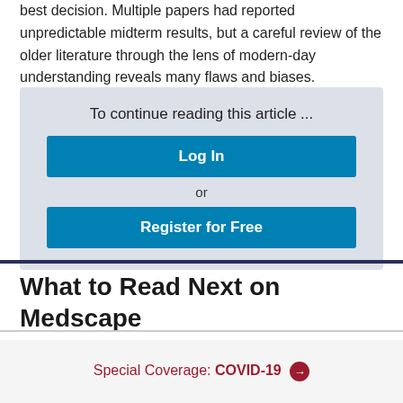best decision. Multiple papers had reported unpredictable midterm results, but a careful review of the older literature through the lens of modern-day understanding reveals many flaws and biases.
To continue reading this article ...
Log In
or
Register for Free
What to Read Next on Medscape
Special Coverage: COVID-19 →